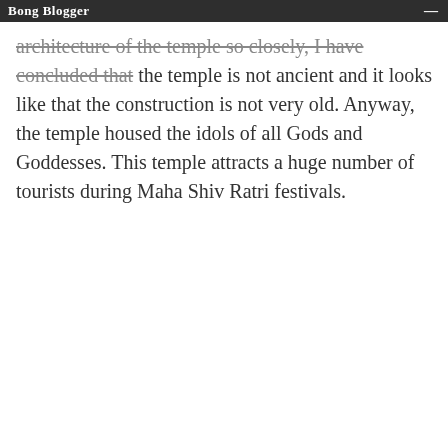Bong Blogger
architecture of the temple so closely, I have concluded that the temple is not ancient and it looks like that the construction is not very old. Anyway, the temple housed the idols of all Gods and Goddesses. This temple attracts a huge number of tourists during Maha Shiv Ratri festivals.